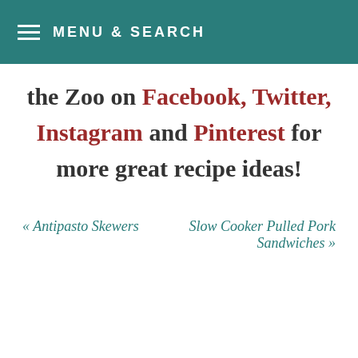MENU & SEARCH
the Zoo on Facebook, Twitter, Instagram and Pinterest for more great recipe ideas!
« Antipasto Skewers
Slow Cooker Pulled Pork Sandwiches »